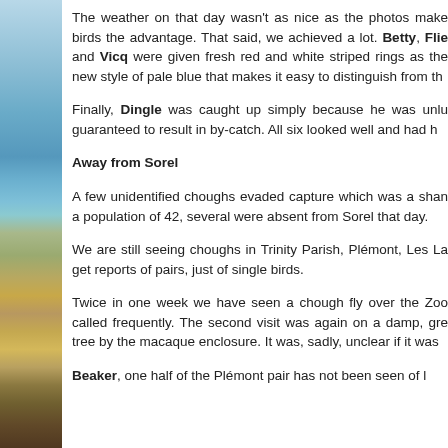[Figure (photo): Coastal landscape photo showing sea and rocky shoreline with vegetation on the left margin of the page]
The weather on that day wasn't as nice as the photos make birds the advantage. That said, we achieved a lot. Betty, Flie and Vicq were given fresh red and white striped rings as the new style of pale blue that makes it easy to distinguish from th
Finally, Dingle was caught up simply because he was unlu guaranteed to result in by-catch. All six looked well and had h
Away from Sorel
A few unidentified choughs evaded capture which was a shan a population of 42, several were absent from Sorel that day.
We are still seeing choughs in Trinity Parish, Plémont, Les La get reports of pairs, just of single birds.
Twice in one week we have seen a chough fly over the Zoo called frequently. The second visit was again on a damp, gre tree by the macaque enclosure. It was, sadly, unclear if it was
Beaker, one half of the Plémont pair has not been seen of l